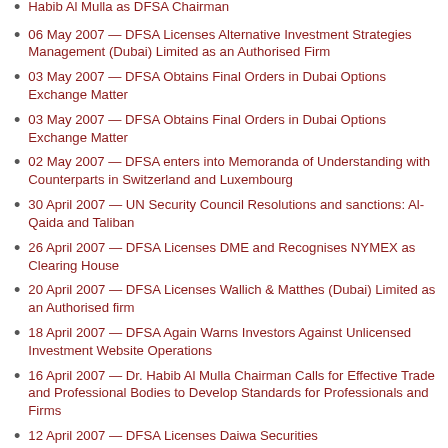Habib Al Mulla as DFSA Chairman
06 May 2007 — DFSA Licenses Alternative Investment Strategies Management (Dubai) Limited as an Authorised Firm
03 May 2007 — DFSA Obtains Final Orders in Dubai Options Exchange Matter
03 May 2007 — DFSA Obtains Final Orders in Dubai Options Exchange Matter
02 May 2007 — DFSA enters into Memoranda of Understanding with Counterparts in Switzerland and Luxembourg
30 April 2007 — UN Security Council Resolutions and sanctions: Al-Qaida and Taliban
26 April 2007 — DFSA Licenses DME and Recognises NYMEX as Clearing House
20 April 2007 — DFSA Licenses Wallich & Matthes (Dubai) Limited as an Authorised firm
18 April 2007 — DFSA Again Warns Investors Against Unlicensed Investment Website Operations
16 April 2007 — Dr. Habib Al Mulla Chairman Calls for Effective Trade and Professional Bodies to Develop Standards for Professionals and Firms
12 April 2007 — DFSA Licenses Daiwa Securities